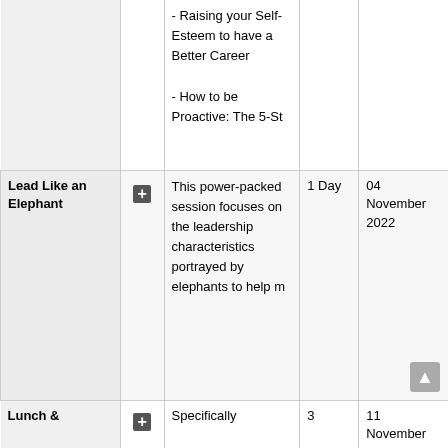| Course Name |  | Description | Duration | Date |
| --- | --- | --- | --- | --- |
|  | + | - Raising your Self-Esteem to have a Better Career
- How to be Proactive: The 5-St |  |  |
| Lead Like an Elephant | + | This power-packed session focuses on the leadership characteristics portrayed by elephants to help m | 1 Day | 04 November 2022 |
| Lunch & | + | Specifically | 3 | 11 November 2022 |